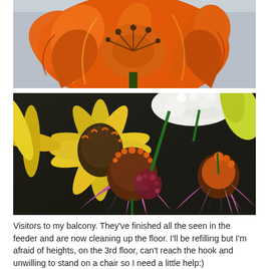[Figure (photo): Close-up photograph of an orange lily flower with curled petals against a light background]
[Figure (photo): Close-up photograph of a mixed bouquet of flowers including pink echinacea/coneflowers, yellow rudbeckia, white flowers, and dark burgundy allium against a dark background]
Visitors to my balcony.  They've finished all the seen in the feeder and are now cleaning up the floor.  I'll be refilling but I'm afraid of heights, on the 3rd floor, can't reach the hook and unwilling to stand on a chair so I need a little help:)